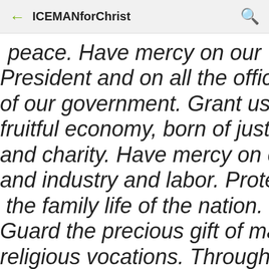ICEMANforChrist
peace. Have mercy on our President and on all the office of our government. Grant us a fruitful economy, born of justice and charity. Have mercy on capital and industry and labor. Protect the family life of the nation. Guard the precious gift of marriage, religious vocations. Through the intercession of our Mother, have mercy on the sick, the tempted, sinners - on all who are in need. Mary, Immaculate Virgin, our Mother, Patroness of our land,